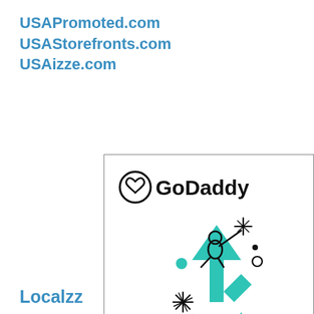USAPromoted.com
USAStorefronts.com
USAizze.com
[Figure (logo): GoDaddy logo and illustration showing a person riding an upward teal arrow with stars and sparkles, representing growth.]
Localzz